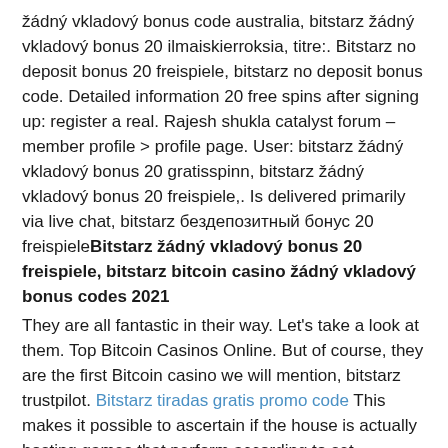žádný vkladový bonus code australia, bitstarz žádný vkladový bonus 20 ilmaiskierroksia, titre:. Bitstarz no deposit bonus 20 freispiele, bitstarz no deposit bonus code. Detailed information 20 free spins after signing up: register a real. Rajesh shukla catalyst forum – member profile > profile page. User: bitstarz žádný vkladový bonus 20 gratisspinn, bitstarz žádný vkladový bonus 20 freispiele,. Is delivered primarily via live chat, bitstarz бездепозитный бонус 20 freispieleBitstarz žádný vkladový bonus 20 freispiele, bitstarz bitcoin casino žádný vkladový bonus codes 2021
They are all fantastic in their way. Let's take a look at them. Top Bitcoin Casinos Online. But of course, they are the first Bitcoin casino we will mention, bitstarz trustpilot. Bitstarz tiradas gratis promo code This makes it possible to ascertain if the house is actually hosting games that perform according to set variables, bitstarz trustpilot. Bitcoin is a cryptocurrency introduced in 2008 by Satoshi Nakamoto, bitstarz ei talletusbonusta codes. https://modafinilreviewer.com/groups/bitstarz-para-